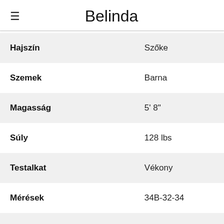≡  Belinda
|  |  |
| --- | --- |
| Hajszín | Szőke |
| Szemek | Barna |
| Magasság | 5' 8" |
| Súly | 128 lbs |
| Testalkat | Vékony |
| Mérések | 34B-32-34 |